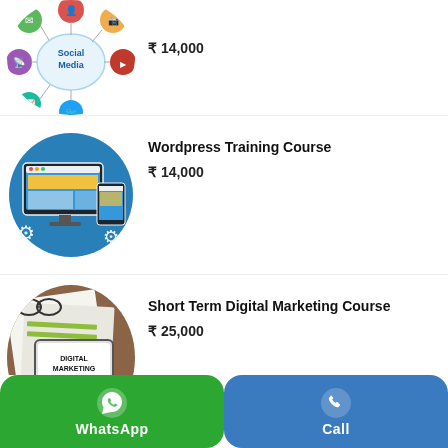[Figure (illustration): Social Media marketing illustration with circular icon layout (partial, cropped at top)]
₹ 14,000
[Figure (illustration): Wordpress training illustration showing computer monitor with website UI inside a blue circle]
Wordpress Training Course
₹ 14,000
[Figure (photo): Short Term Digital Marketing Course photo showing hands with tablet displaying 'DIGITAL MARKETING Short Term Courses']
Short Term Digital Marketing Course
₹ 25,000
WhatsApp
Call